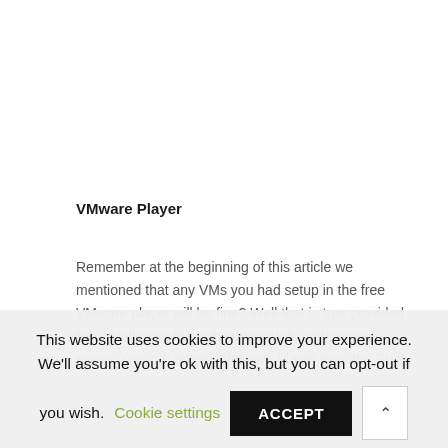VMware Player
Remember at the beginning of this article we mentioned that any VMs you had setup in the free VMware player will be fine? Well that is true provided the install goes through successfully without and errors. You can access VMware Player from the Start
This website uses cookies to improve your experience. We'll assume you're ok with this, but you can opt-out if you wish. Cookie settings ACCEPT